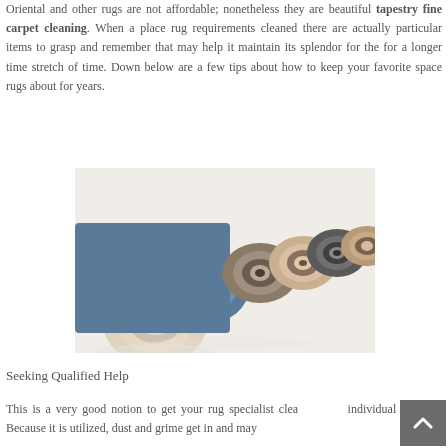Oriental and other rugs are not affordable; nonetheless they are beautiful tapestry fine carpet cleaning. When a place rug requirements cleaned there are actually particular items to grasp and remember that may help it maintain its splendor for the for a longer time stretch of time. Down below are a few tips about how to keep your favorite space rugs about for years.
[Figure (photo): A row of rolled-up rugs in various colors and textures (blue, beige, brown, gray) arranged diagonally on a white background, viewed from the front/side showing the rolled ends.]
Seeking Qualified Help
This is a very good notion to get your rug specialist cleaned each individual few yrs. Because it is utilized, dust and grime get in and may